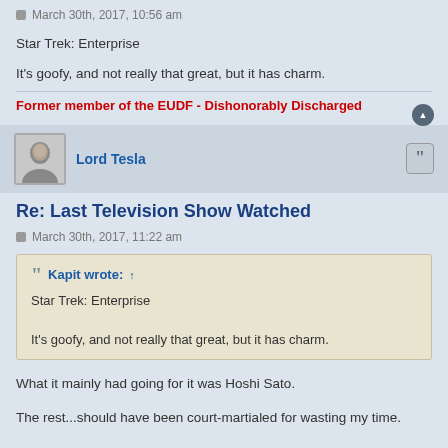March 30th, 2017, 10:56 am
Star Trek: Enterprise
It's goofy, and not really that great, but it has charm.
Former member of the EUDF - Dishonorably Discharged
Lord Tesla
Re: Last Television Show Watched
March 30th, 2017, 11:22 am
Kapit wrote: ↑
Star Trek: Enterprise

It's goofy, and not really that great, but it has charm.
What it mainly had going for it was Hoshi Sato.
The rest...should have been court-martialed for wasting my time.
And the ship was passable. Though it did make the original NCC-1701